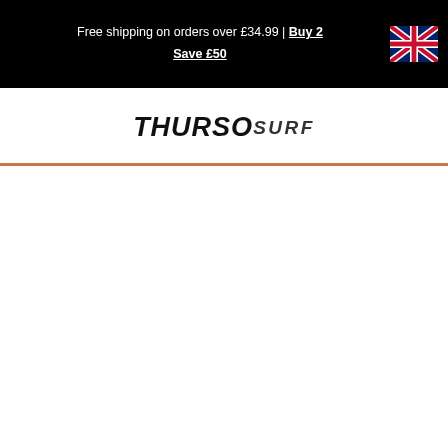Free shipping on orders over £34.99 | Buy 2 Save £50
[Figure (logo): THURSO SURF brand logo in bold italic black text]
[Figure (illustration): UK flag (Union Jack) in top right of banner]